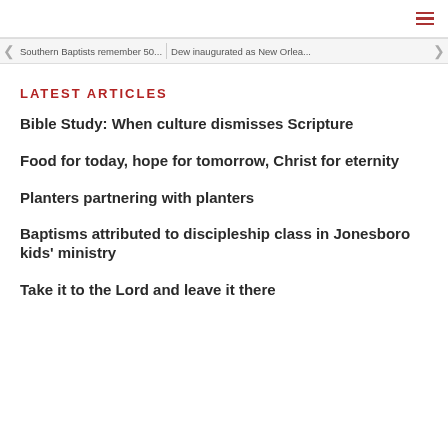≡
Southern Baptists remember 50... | Dew inaugurated as New Orlea...
LATEST ARTICLES
Bible Study: When culture dismisses Scripture
Food for today, hope for tomorrow, Christ for eternity
Planters partnering with planters
Baptisms attributed to discipleship class in Jonesboro kids' ministry
Take it to the Lord and leave it there